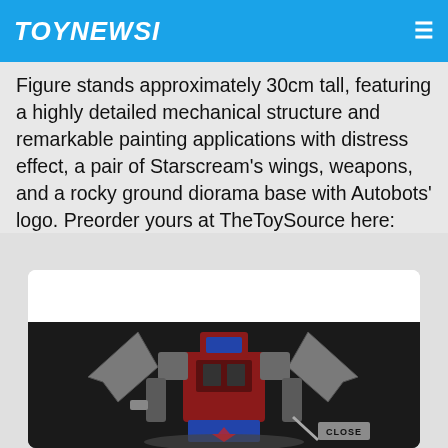TOYNEWSI
Figure stands approximately 30cm tall, featuring a highly detailed mechanical structure and remarkable painting applications with distress effect, a pair of Starscream's wings, weapons, and a rocky ground diorama base with Autobots' logo. Preorder yours at TheToySource here:
[Figure (photo): Photo of a detailed Transformer (Optimus Prime/Starscream-winged) action figure approximately 30cm tall, shown against a dark background with rocky diorama base. A 'CLOSE' button overlay is visible in the lower right of the image.]